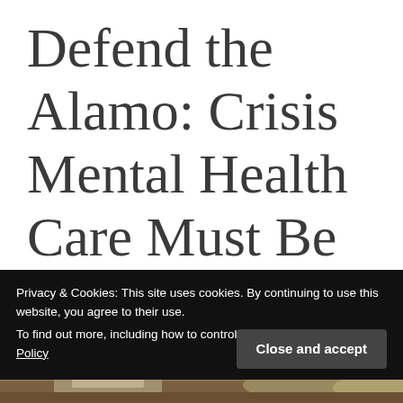Defend the Alamo: Crisis Mental Health Care Must Be
Privacy & Cookies: This site uses cookies. By continuing to use this website, you agree to their use.
To find out more, including how to control cookies, see here: Cookie Policy
[Figure (photo): Partial photo of the Alamo or similar historic building visible at the bottom of the page]